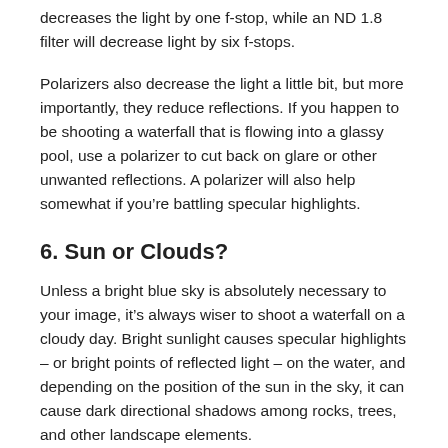decreases the light by one f-stop, while an ND 1.8 filter will decrease light by six f-stops.
Polarizers also decrease the light a little bit, but more importantly, they reduce reflections. If you happen to be shooting a waterfall that is flowing into a glassy pool, use a polarizer to cut back on glare or other unwanted reflections. A polarizer will also help somewhat if you’re battling specular highlights.
6. Sun or Clouds?
Unless a bright blue sky is absolutely necessary to your image, it’s always wiser to shoot a waterfall on a cloudy day. Bright sunlight causes specular highlights – or bright points of reflected light – on the water, and depending on the position of the sun in the sky, it can cause dark directional shadows among rocks, trees, and other landscape elements.
7. Dress to Get Wet